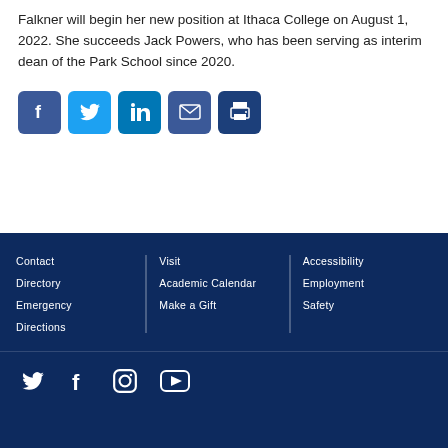Falkner will begin her new position at Ithaca College on August 1, 2022. She succeeds Jack Powers, who has been serving as interim dean of the Park School since 2020.
[Figure (infographic): Social sharing buttons: Facebook, Twitter, LinkedIn, Email, Print]
Contact | Directory | Emergency | Directions | Visit | Academic Calendar | Make a Gift | Accessibility | Employment | Safety
[Figure (infographic): Footer social media icons: Twitter, Facebook, Instagram, YouTube]